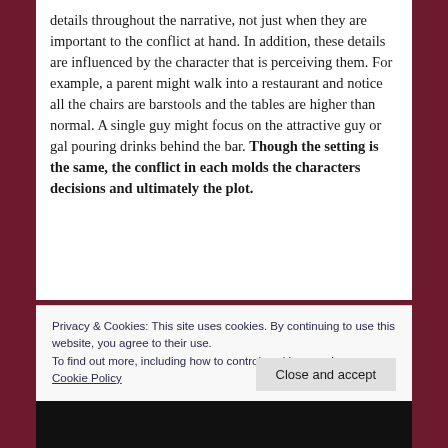details throughout the narrative, not just when they are important to the conflict at hand. In addition, these details are influenced by the character that is perceiving them. For example, a parent might walk into a restaurant and notice all the chairs are barstools and the tables are higher than normal. A single guy might focus on the attractive guy or gal pouring drinks behind the bar. Though the setting is the same, the conflict in each molds the characters decisions and ultimately the plot.
Privacy & Cookies: This site uses cookies. By continuing to use this website, you agree to their use.
To find out more, including how to control cookies, see here: Cookie Policy